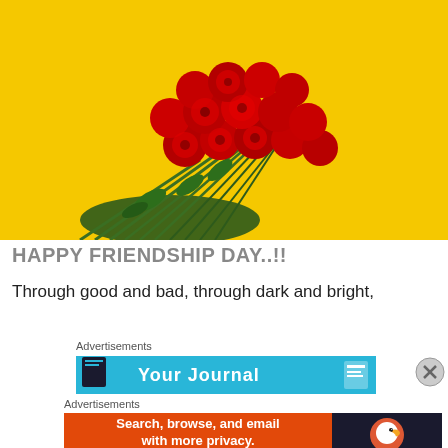[Figure (photo): A bouquet of red roses lying on a bright yellow background, viewed from above. The roses and stems fill the left and center portion of the image.]
HAPPY FRIENDSHIP DAY..!!
Through good and bad, through dark and bright,
Advertisements
[Figure (screenshot): Advertisement banner with cyan/blue background showing 'Your Journal' text with a notebook icon.]
Advertisements
[Figure (screenshot): DuckDuckGo advertisement: orange background on left with text 'Search, browse, and email with more privacy. All in One Free App', dark right panel with DuckDuckGo duck logo and 'DuckDuckGo' text.]